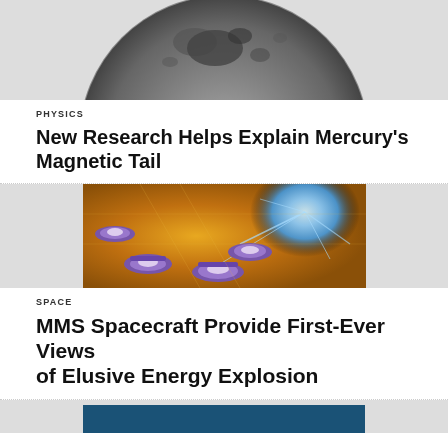[Figure (photo): Black and white photograph of Mercury's surface showing craters, top portion of the planet visible]
PHYSICS
New Research Helps Explain Mercury's Magnetic Tail
[Figure (illustration): Artistic illustration of MMS spacecraft formation near magnetic reconnection event, golden/orange background with purple spacecraft and blue energy burst]
SPACE
MMS Spacecraft Provide First-Ever Views of Elusive Energy Explosion
[Figure (photo): Partially visible image at bottom with blue bar visible, next article preview]